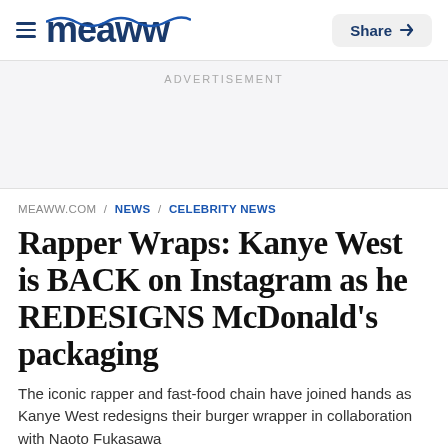meaww | Share
ADVERTISEMENT
MEAWW.COM / NEWS / CELEBRITY NEWS
Rapper Wraps: Kanye West is BACK on Instagram as he REDESIGNS McDonald's packaging
The iconic rapper and fast-food chain have joined hands as Kanye West redesigns their burger wrapper in collaboration with Naoto Fukasawa